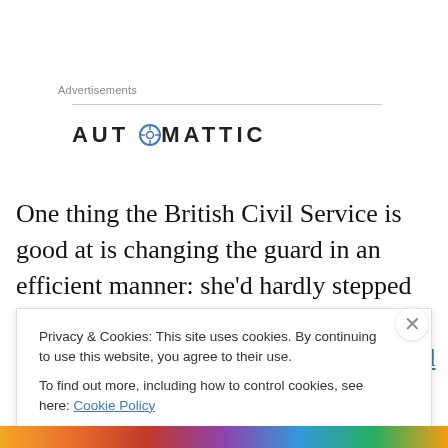Advertisements
[Figure (logo): Automattic logo with stylized compass/target icon replacing the letter O]
One thing the British Civil Service is good at is changing the guard in an efficient manner: she'd hardly stepped out on to Downing Street after a chat with Dave (it is unsure if it was over red wine) when she was up in lights and Gove
Privacy & Cookies: This site uses cookies. By continuing to use this website, you agree to their use.
To find out more, including how to control cookies, see here: Cookie Policy
Close and accept